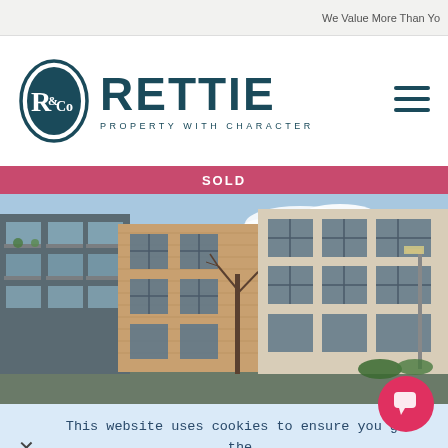We Value More Than Yo
[Figure (logo): Rettie & Co logo — oval emblem with R&Co monogram in dark teal, large bold RETTIE wordmark, tagline PROPERTY WITH CHARACTER]
SOLD
[Figure (photo): Exterior photo of modern residential apartment buildings with brick and pale stone facades, balconies, large windows, bare winter tree and street lamp visible on right, blue sky with clouds]
This website uses cookies to ensure you get the best experience. Read More.